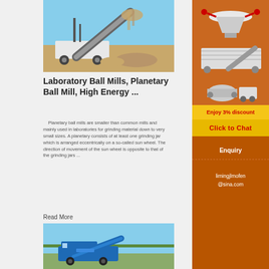[Figure (photo): Large industrial crushing/screening machine with conveyor belt elevated at angle, material being processed, outdoor setting with blue sky]
Laboratory Ball Mills, Planetary Ball Mill, High Energy ...
Planetary ball mills are smaller than common mills and mainly used in laboratories for grinding material down to very small sizes. A planetary consists of at least one grinding jar which is arranged eccentrically on a so-called sun wheel. The direction of movement of the sun wheel is opposite to that of the grinding jars ...
Read More
[Figure (photo): Blue wheeled mobile crushing/screening machine outdoors with green trees in background]
[Figure (photo): Sidebar advertisement showing industrial crushing and milling machinery on orange background]
Enjoy 3% discount
Click to Chat
Enquiry
limingjlmofen@sina.com